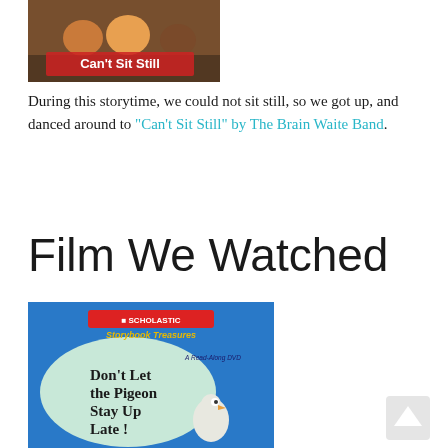[Figure (photo): Book/album cover image for 'Can't Sit Still' showing children sitting, with white text overlay reading 'Can't Sit Still']
During this storytime, we could not sit still, so we got up, and danced around to “Can’t Sit Still” by The Brain Waite Band.
Film We Watched
[Figure (photo): Scholastic Storybook Treasures DVD cover for 'Don't Let the Pigeon Stay Up Late!' showing a cartoon pigeon on blue background with speech bubble]